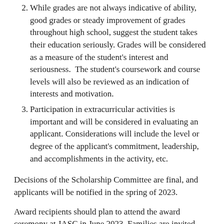2. While grades are not always indicative of ability, good grades or steady improvement of grades throughout high school, suggest the student takes their education seriously. Grades will be considered as a measure of the student's interest and seriousness. The student's coursework and course levels will also be reviewed as an indication of interests and motivation.
3. Participation in extracurricular activities is important and will be considered in evaluating an applicant. Considerations will include the level or degree of the applicant's commitment, leadership, and accomplishments in the activity, etc.
Decisions of the Scholarship Committee are final, and applicants will be notified in the spring of 2023.
Award recipients should plan to attend the award ceremony at JASC in June 2023. Families are invited